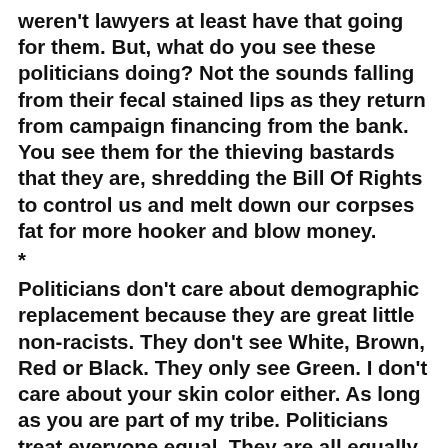weren't lawyers at least have that going for them. But, what do you see these politicians doing? Not the sounds falling from their fecal stained lips as they return from campaign financing from the bank. You see them for the thieving bastards that they are, shredding the Bill Of Rights to control us and melt down our corpses fat for more hooker and blow money.
*
Politicians don't care about demographic replacement because they are great little non-racists. They don't see White, Brown, Red or Black. They only see Green. I don't care about your skin color either. As long as you are part of my tribe. Politicians treat everyone equal. They are all equally screwed. He has no tribe. No loyalty. Everyone is roadkill to them. The post WWII imperial model started breaking down financially in the early Sixties. And the bankers